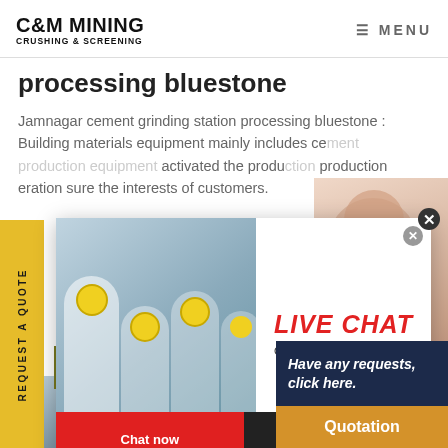C&M MINING CRUSHING & SCREENING | MENU
processing bluestone
Jamnagar cement grinding station processing bluestone : Building materials equipment mainly includes cement production equipment activated the production production operation sure the interests of customers.
[Figure (photo): Live chat popup with workers in yellow hard hats and chat now/later buttons]
[Figure (photo): Customer service representative with headset, with Have any requests click here and Quotation button]
REQUEST A QUOTE
request a quote
Have any requests, click here.
Quotation